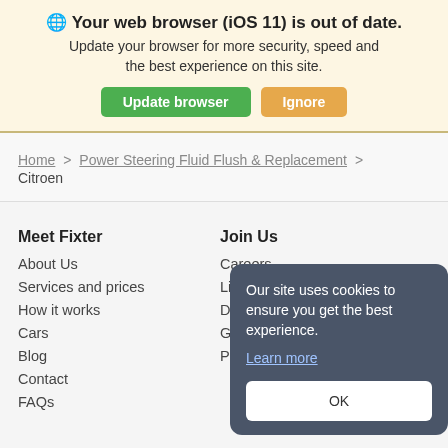🌐 Your web browser (iOS 11) is out of date. Update your browser for more security, speed and the best experience on this site.
Update browser | Ignore
Home > Power Steering Fluid Flush & Replacement > Citroen
Meet Fixter
About Us
Services and prices
How it works
Cars
Blog
Contact
FAQs
Join Us
Careers
Life a
Drive
Gara
Partr
Our site uses cookies to ensure you get the best experience. Learn more
OK